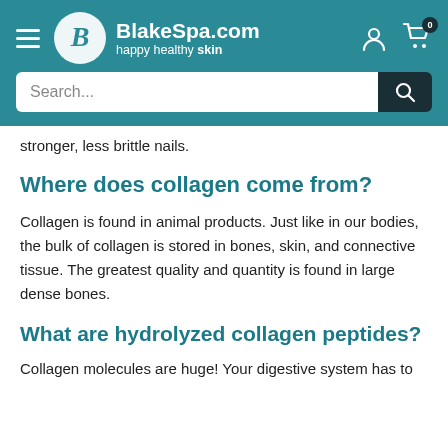BlakeSpa.com — happy healthy skin
stronger, less brittle nails.
Where does collagen come from?
Collagen is found in animal products. Just like in our bodies, the bulk of collagen is stored in bones, skin, and connective tissue. The greatest quality and quantity is found in large dense bones.
What are hydrolyzed collagen peptides?
Collagen molecules are huge! Your digestive system has to